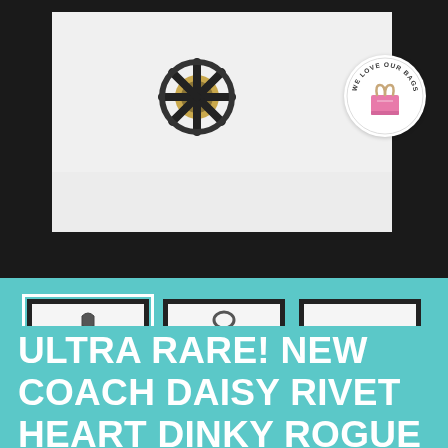[Figure (photo): Large main product photo showing a Coach bag charm with daisy/rivet detail on a white surface with black border frame. A circular 'We Love Our Bags' logo badge is visible in the upper right.]
[Figure (photo): Three thumbnail product photos of Coach bag charms: left (selected/highlighted) shows daisy rivet charm with tag, center shows heart and tag charm, right shows small shoe/dinky charm. All on light background with dark frames.]
ULTRA RARE! NEW COACH DAISY RIVET HEART DINKY ROGUE BAG CHARM KEY FOB